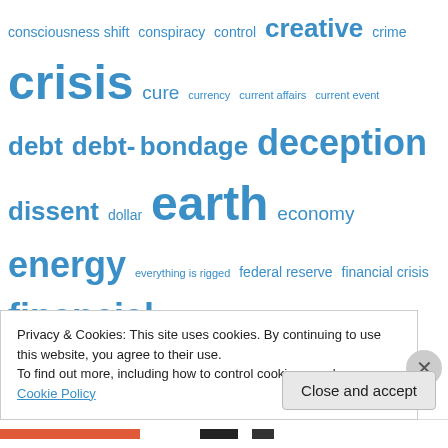[Figure (infographic): Tag cloud of political/financial themed terms in varying sizes of blue text, including: consciousness shift, conspiracy, control, creative, crime, crisis, cure, currency, current affairs, current event, debt, debt-bondage, deception, dissent, dollar, earth, economy, energy, everything is rigged, federal reserve, financial crisis, financial fraud, fraud free, freedom, full disclosure, G20, geopolitics, government, government lies, healing, imf, institutional crime, international monetary system, internet, justice, liberty]
Privacy & Cookies: This site uses cookies. By continuing to use this website, you agree to their use.
To find out more, including how to control cookies, see here: Cookie Policy